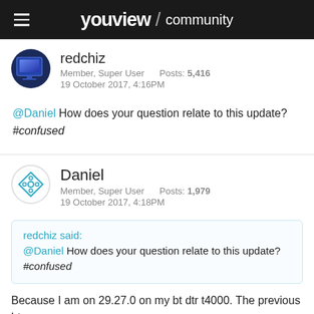youview / community
redchiz
Member, Super User    Posts: 5,416
19 October 2017, 4:16PM
@Daniel How does your question relate to this update? #confused
Daniel
Member, Super User    Posts: 1,979
19 October 2017, 4:18PM
redchiz said:
@Daniel How does your question relate to this update? #confused
Because I am on 29.27.0 on my bt dtr t4000. The previous bt